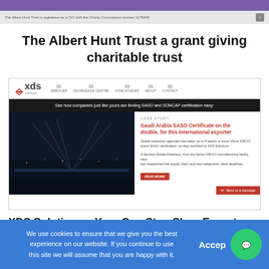The Albert Hunt Trust is registered as a CIO with the Charity Commission number 1178440
The Albert Hunt Trust a grant giving charitable trust
[Figure (screenshot): Screenshot of XDS Solutions website showing navigation bar with logo, black banner reading 'See how companies just like yours are finding SASO and SONCAP certification easy:', and a case study section with bridge night photo and text: 'CASE STUDY - Saudi Arabia SASO Certificate on the double, for this international exporter' with READ MORE button]
XDS Solutions – Your One Stop Shop Export
We use cookies to ensure that we give you the best experience on our website. If you continue to use this site we will assume that you are happy with it.